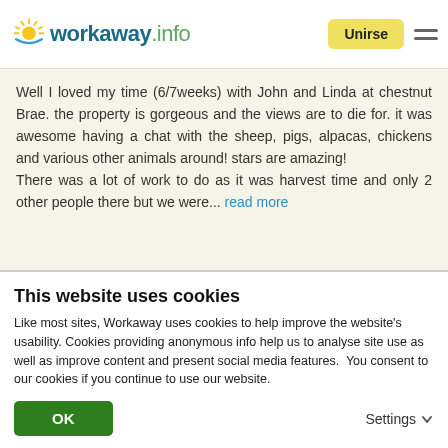workaway.info — Unirse
Well I loved my time (6/7weeks) with John and Linda at chestnut Brae. the property is gorgeous and the views are to die for. it was awesome having a chat with the sheep, pigs, alpacas, chickens and various other animals around! stars are amazing!
There was a lot of work to do as it was harvest time and only 2 other people there but we were... read more
[Figure (photo): Circular avatar photo of a young woman with red hair and glasses, with a blue/red bird on her shoulder]
This website uses cookies
Like most sites, Workaway uses cookies to help improve the website's usability. Cookies providing anonymous info help us to analyse site use as well as improve content and present social media features.  You consent to our cookies if you continue to use our website.
OK
Settings